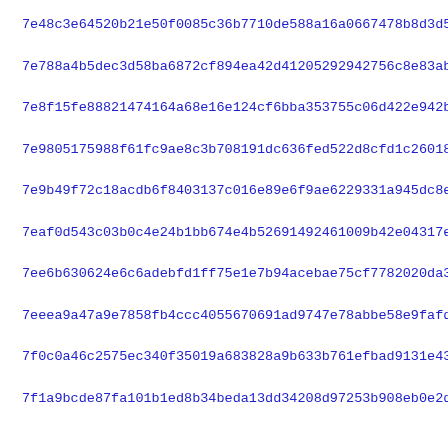7e48c3e64520b21e50f0085c36b7710de588a16a0667478b8d3d5f004d06d
7e788a4b5dec3d58ba6872cf894ea42d41205292942756c8e83ab078ac84e
7e8f15fe88821474164a68e16e124cf6bba353755c06d422e942b3f9e82cb
7e9805175988f61fc9ae8c3b708191dc636fed522d8cfd1c26018232b7349
7e9b49f72c18acdb6f8403137c016e89e6f9ae6229331a945dc8ee2dcf9bd
7eaf0d543c03b0c4e24b1bb674e4b52691492461009b42e04317e64ef190d
7ee6b630624e6c6adebfd1ff75e1e7b94acebae75cf7782020da36cff4ded
7eeea9a47a9e7858fb4ccc4055670691ad9747e78abbe58e9fafd97af5296
7f0c0a46c2575ec340f35019a683828a9b633b761efbad9131e4348d1d837
7f1a9bcde87fa101b1ed8b34beda13dd34208d97253b908eb0e2d607d3548